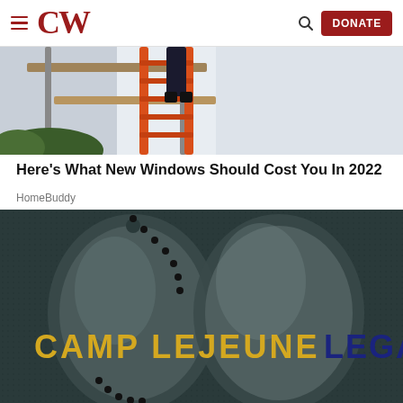CW | DONATE
[Figure (photo): Construction scene with orange ladder leaning against a white building exterior, scaffolding visible]
Here's What New Windows Should Cost You In 2022
HomeBuddy
[Figure (photo): Camp Lejeune Legal advertisement showing military dog tags on dark textured background with yellow and dark blue text reading CAMP LEJEUNE LEGAL]